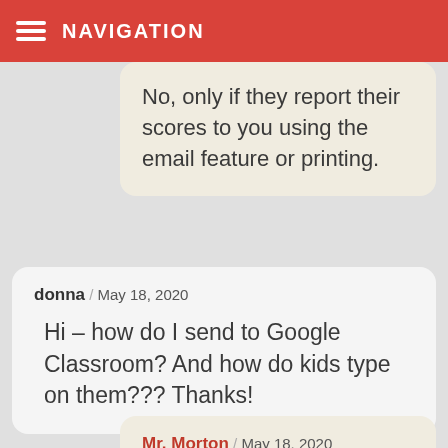NAVIGATION
No, only if they report their scores to you using the email feature or printing.
donna / May 18, 2020
Hi – how do I send to Google Classroom? And how do kids type on them??? Thanks!
Mr. Morton / May 18, 2020
Google Classroom integration is only